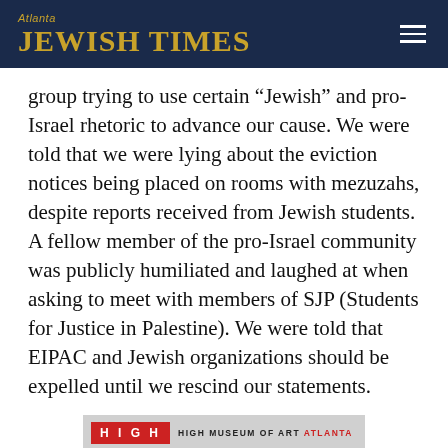Atlanta JEWISH TIMES
group trying to use certain “Jewish” and pro-Israel rhetoric to advance our cause. We were told that we were lying about the eviction notices being placed on rooms with mezuzahs, despite reports received from Jewish students. A fellow member of the pro-Israel community was publicly humiliated and laughed at when asking to meet with members of SJP (Students for Justice in Palestine). We were told that EIPAC and Jewish organizations should be expelled until we rescind our statements.
[Figure (other): Advertisement for High Museum of Art Atlanta featuring Stephen Burks exhibition, with red HIGH logo box, museum name, artist name STEPHEN BURKS in red text, and a decorative lantern object on the right.]